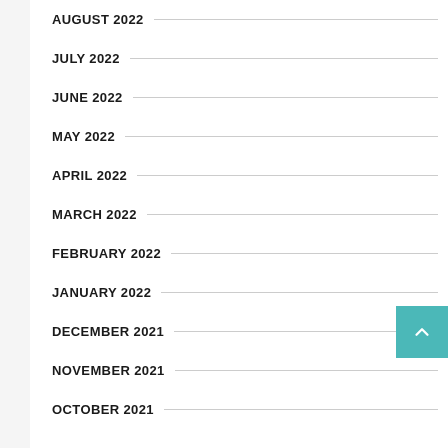AUGUST 2022
JULY 2022
JUNE 2022
MAY 2022
APRIL 2022
MARCH 2022
FEBRUARY 2022
JANUARY 2022
DECEMBER 2021
NOVEMBER 2021
OCTOBER 2021